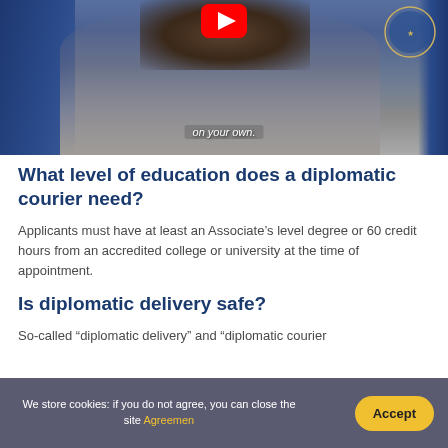[Figure (screenshot): Video thumbnail showing a woman speaking at a press briefing with a blue background and US State Department seal; subtitle reads 'on your own.' with a YouTube play button overlay at top center]
What level of education does a diplomatic courier need?
Applicants must have at least an Associate’s level degree or 60 credit hours from an accredited college or university at the time of appointment.
Is diplomatic delivery safe?
So-called “diplomatic delivery” and “diplomatic courier
We store cookies: if you do not agree, you can close the site Agreemen